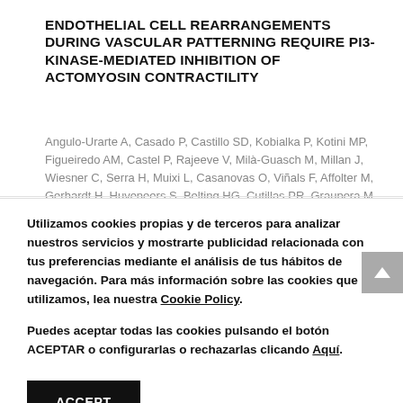ENDOTHELIAL CELL REARRANGEMENTS DURING VASCULAR PATTERNING REQUIRE PI3-KINASE-MEDIATED INHIBITION OF ACTOMYOSIN CONTRACTILITY
Angulo-Urarte A, Casado P, Castillo SD, Kobialka P, Kotini MP, Figueiredo AM, Castel P, Rajeeve V, Milà-Guasch M, Millan J, Wiesner C, Serra H, Muixi L, Casanovas O, Viñals F, Affolter M, Gerhardt H, Huveneers S, Belting HG, Cutillas PR, Graupera M.
Utilizamos cookies propias y de terceros para analizar nuestros servicios y mostrarte publicidad relacionada con tus preferencias mediante el análisis de tus hábitos de navegación. Para más información sobre las cookies que utilizamos, lea nuestra Cookie Policy.
Puedes aceptar todas las cookies pulsando el botón ACEPTAR o configurarlas o rechazarlas clicando Aquí.